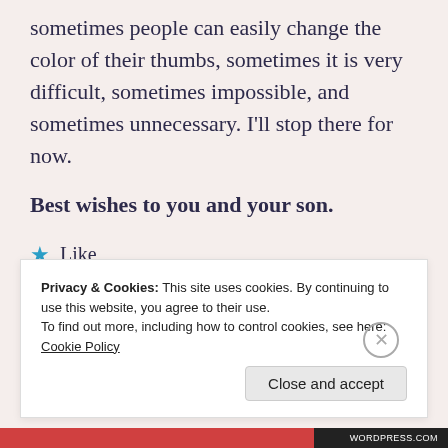sometimes people can easily change the color of their thumbs, sometimes it is very difficult, sometimes impossible, and sometimes unnecessary. I'll stop there for now.
Best wishes to you and your son.
★ Like
Log in to Reply
Privacy & Cookies: This site uses cookies. By continuing to use this website, you agree to their use. To find out more, including how to control cookies, see here: Cookie Policy
Close and accept